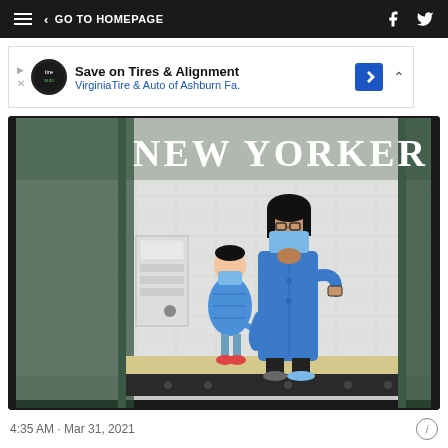GO TO HOMEPAGE
[Figure (screenshot): Advertisement banner: Save on Tires & Alignment - VirginiaTire & Auto of Ashburn Fa.]
[Figure (illustration): New Yorker magazine cover illustration showing a woman and child wearing blue face masks standing on a subway platform. The woman is wearing a long blue coat and checking her watch/phone. The child is wearing a blue puffer jacket. The New Yorker masthead is visible at the top of the image.]
4:35 AM · Mar 31, 2021